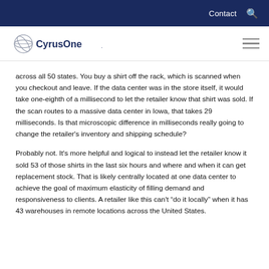Contact  [search icon]
[Figure (logo): CyrusOne logo with globe/orbit icon and wordmark in navy blue]
across all 50 states. You buy a shirt off the rack, which is scanned when you checkout and leave. If the data center was in the store itself, it would take one-eighth of a millisecond to let the retailer know that shirt was sold. If the scan routes to a massive data center in Iowa, that takes 29 milliseconds. Is that microscopic difference in milliseconds really going to change the retailer's inventory and shipping schedule?
Probably not. It's more helpful and logical to instead let the retailer know it sold 53 of those shirts in the last six hours and where and when it can get replacement stock. That is likely centrally located at one data center to achieve the goal of maximum elasticity of filling demand and responsiveness to clients. A retailer like this can't "do it locally" when it has 43 warehouses in remote locations across the United States.